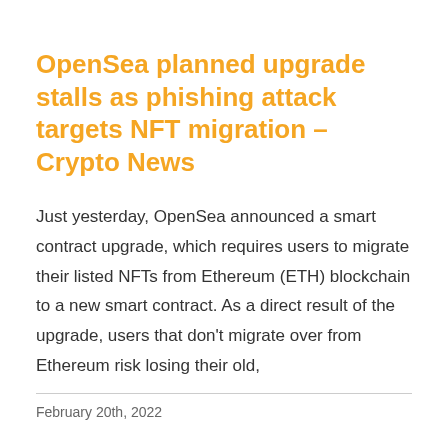OpenSea planned upgrade stalls as phishing attack targets NFT migration – Crypto News
Just yesterday, OpenSea announced a smart contract upgrade, which requires users to migrate their listed NFTs from Ethereum (ETH) blockchain to a new smart contract. As a direct result of the upgrade, users that don't migrate over from Ethereum risk losing their old,
February 20th, 2022